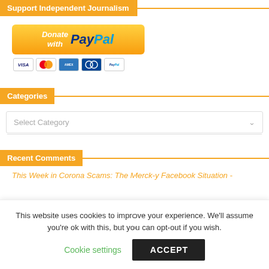Support Independent Journalism
[Figure (logo): Donate with PayPal button with credit card icons (Visa, Mastercard, Amex, Cirrus, PayPal)]
Categories
Select Category
Recent Comments
This Week in Corona Scams: The Merck-y Facebook Situation -
This website uses cookies to improve your experience. We'll assume you're ok with this, but you can opt-out if you wish.
Cookie settings
ACCEPT